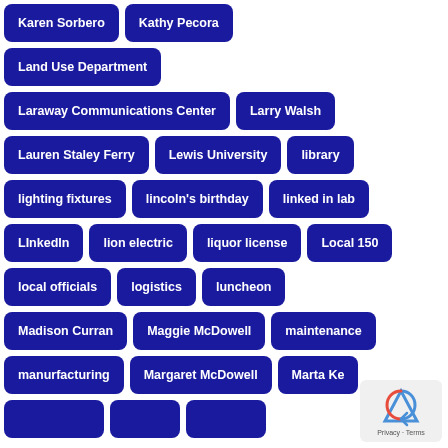Karen Sorbero
Kathy Pecora
Land Use Department
Laraway Communications Center
Larry Walsh
Lauren Staley Ferry
Lewis University
library
lighting fixtures
lincoln's birthday
linked in lab
LInkedIn
lion electric
liquor license
Local 150
local officials
logistics
luncheon
Madison Curran
Maggie McDowell
maintenance
manurfacturing
Margaret McDowell
Marta Ke…